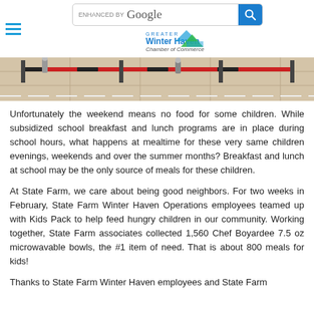ENHANCED BY Google — Winter Haven Chamber of Commerce
[Figure (photo): Photo strip showing what appears to be a gymnasium or cafeteria floor with red and black barriers or ropes stretched across it.]
Unfortunately the weekend means no food for some children. While subsidized school breakfast and lunch programs are in place during school hours, what happens at mealtime for these very same children evenings, weekends and over the summer months? Breakfast and lunch at school may be the only source of meals for these children.
At State Farm, we care about being good neighbors. For two weeks in February, State Farm Winter Haven Operations employees teamed up with Kids Pack to help feed hungry children in our community. Working together, State Farm associates collected 1,560 Chef Boyardee 7.5 oz microwavable bowls, the #1 item of need. That is about 800 meals for kids!
Thanks to State Farm Winter Haven employees and State Farm